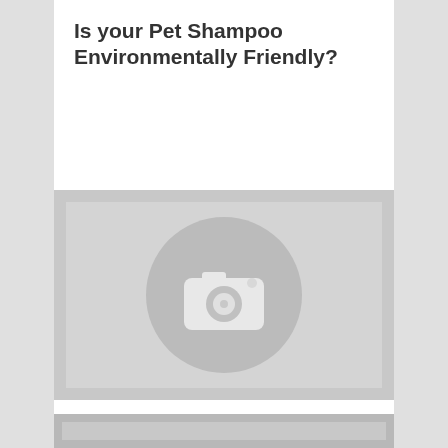Is your Pet Shampoo Environmentally Friendly?
[Figure (photo): Placeholder image with camera icon]
Is your Pet Shampoo Environmentally Friendly?
[Figure (photo): Partial placeholder image at bottom of page]